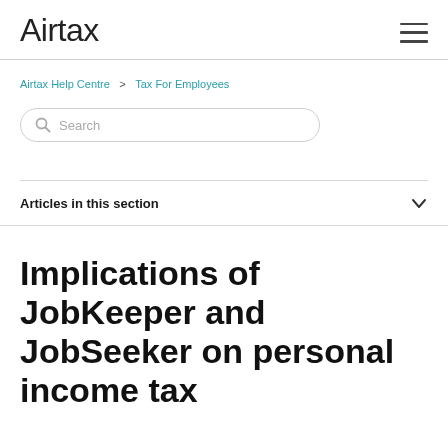Airtax
Airtax Help Centre > Tax For Employees
Search
Articles in this section
Implications of JobKeeper and JobSeeker on personal income tax